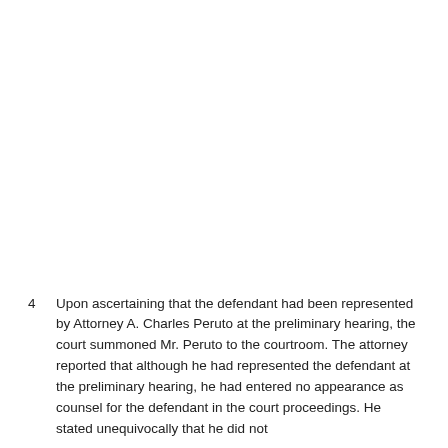4 Upon ascertaining that the defendant had been represented by Attorney A. Charles Peruto at the preliminary hearing, the court summoned Mr. Peruto to the courtroom. The attorney reported that although he had represented the defendant at the preliminary hearing, he had entered no appearance as counsel for the defendant in the court proceedings. He stated unequivocally that he did not